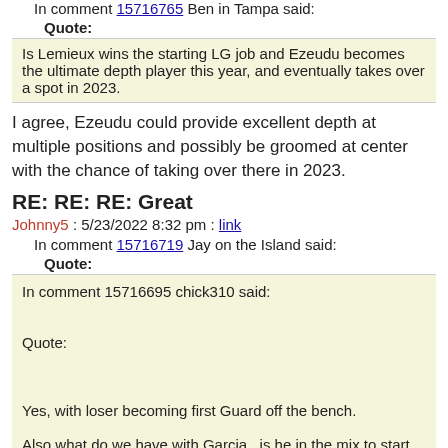In comment 15716765 Ben in Tampa said:
Quote:
Is Lemieux wins the starting LG job and Ezeudu becomes the ultimate depth player this year, and eventually takes over a spot in 2023.
I agree, Ezeudu could provide excellent depth at multiple positions and possibly be groomed at center with the chance of taking over there in 2023.
RE: RE: RE: Great
Johnny5 : 5/23/2022 8:32 pm : link
In comment 15716719 Jay on the Island said:
Quote:
In comment 15716695 chick310 said:

Quote:


Yes, with loser becoming first Guard off the bench.

Also what do we have with Garcia...is he in the mix to start at Left Guard?